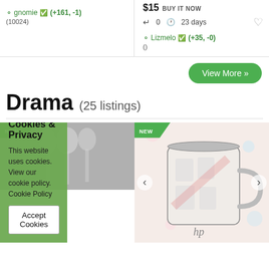gnomie (+161, -1) (10024)
$15 BUY IT NOW
0  23 days
Lizmelo (+35, -0) ()
View More »
Drama (25 listings)
[Figure (photo): Product listing thumbnail with NEW badge, left card showing partial cutlery image]
[Figure (photo): Product listing thumbnail with NEW badge, showing a white mug with pixel-art anime characters on a pink/floral background]
Cookies & Privacy
This website uses cookies. View our cookie policy. Cookie Policy
Accept Cookies